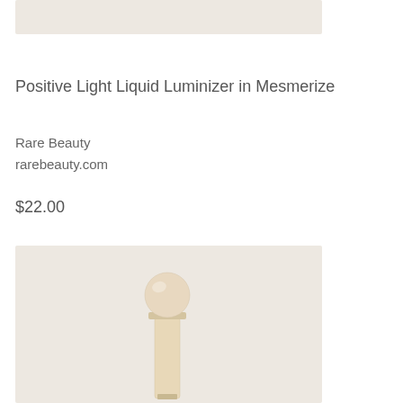[Figure (photo): Top portion of a product image with beige/cream background]
Positive Light Liquid Luminizer in Mesmerize
Rare Beauty
rarebeauty.com
$22.00
[Figure (photo): Product photo of Rare Beauty Positive Light Liquid Luminizer bottle with round spherical gold cap on cream/beige background]